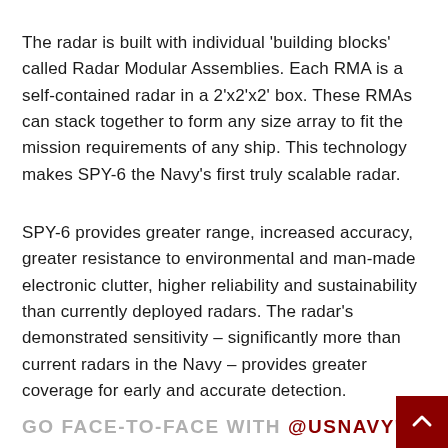The radar is built with individual 'building blocks' called Radar Modular Assemblies. Each RMA is a self-contained radar in a 2'x2'x2' box. These RMAs can stack together to form any size array to fit the mission requirements of any ship. This technology makes SPY-6 the Navy's first truly scalable radar.
SPY-6 provides greater range, increased accuracy, greater resistance to environmental and man-made electronic clutter, higher reliability and sustainability than currently deployed radars. The radar's demonstrated sensitivity – significantly more than current radars in the Navy – provides greater coverage for early and accurate detection.
GO FACE-TO-FACE WITH @USNAVY'S